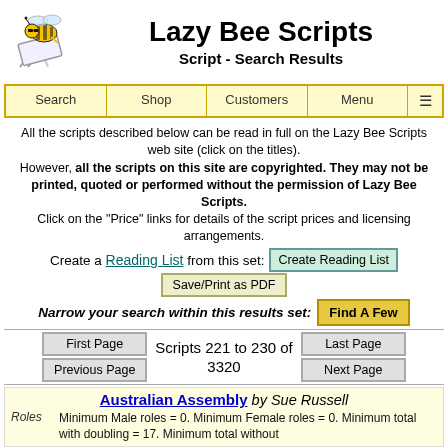[Figure (logo): Lazy Bee Scripts logo: cartoon bee relaxing on a deck chair]
Lazy Bee Scripts
Script - Search Results
[Figure (screenshot): Navigation bar with Search, Shop, Customers, Menu links]
All the scripts described below can be read in full on the Lazy Bee Scripts web site (click on the titles). However, all the scripts on this site are copyrighted. They may not be printed, quoted or performed without the permission of Lazy Bee Scripts. Click on the "Price" links for details of the script prices and licensing arrangements.
Create a Reading List from this set:
Save/Print as PDF
Narrow your search within this results set:
Scripts 221 to 230 of 3320
Australian Assembly by Sue Russell
Roles
Minimum Male roles = 0. Minimum Female roles = 0. Minimum total with doubling = 17. Minimum total without doubling = 1. Maximum total of characters =